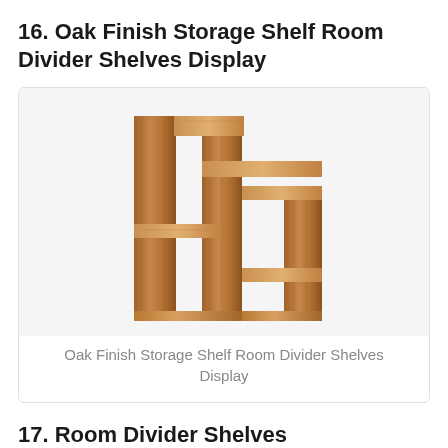16. Oak Finish Storage Shelf Room Divider Shelves Display
[Figure (photo): An oak finish storage shelf room divider with multiple asymmetric shelves arranged in a step-like pattern, made of wood-grain material in warm brown/tan tones.]
Oak Finish Storage Shelf Room Divider Shelves Display
17. Room Divider Shelves Roselawnlutheran